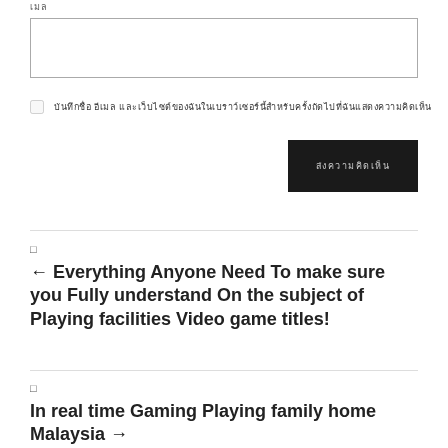เมล
[text input box]
บันทึกชื่อ อีเมล และเว็บไซต์ของฉันในเบราว์เซอร์นี้สำหรับครั้งถัดไปที่ฉันแสดงความคิดเห็น
ส่งความคิดเห็น
←  Everything Anyone Need To make sure you Fully understand On the subject of Playing facilities Video game titles!
In real time Gaming Playing family home Malaysia →